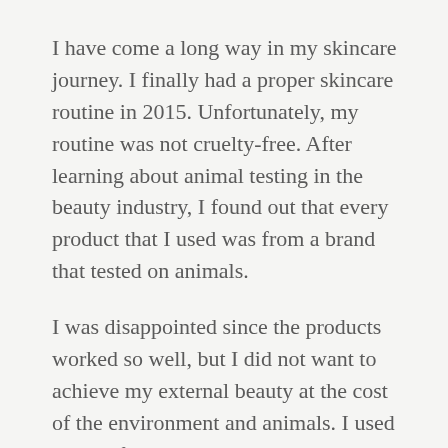I have come a long way in my skincare journey. I finally had a proper skincare routine in 2015. Unfortunately, my routine was not cruelty-free. After learning about animal testing in the beauty industry, I found out that every product that I used was from a brand that tested on animals.
I was disappointed since the products worked so well, but I did not want to achieve my external beauty at the cost of the environment and animals. I used up all of the products until they were finished and then sought out to start my cruelty-free skincare routine.
The first cruelty-free brand I went to was The Body Shop. The Body Shop has a vast range of cruelty-free makeup and skincare products. After doing research on their products and going